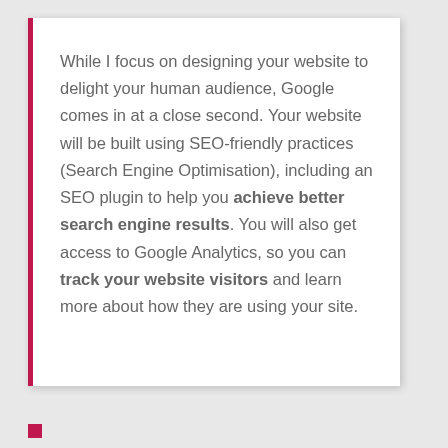While I focus on designing your website to delight your human audience, Google comes in at a close second. Your website will be built using SEO-friendly practices (Search Engine Optimisation), including an SEO plugin to help you achieve better search engine results. You will also get access to Google Analytics, so you can track your website visitors and learn more about how they are using your site.